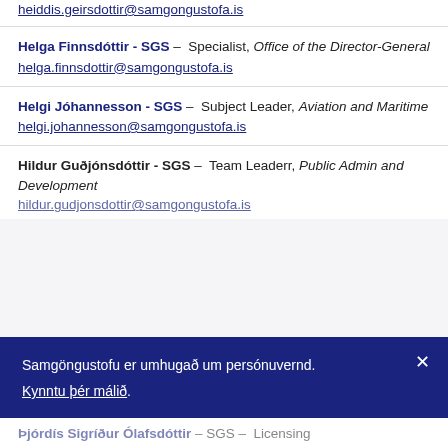heiddis.geirsdottir@samgongustofa.is
Helga Finnsdóttir - SGS – Specialist, Office of the Director-General
helga.finnsdottir@samgongustofa.is
Helgi Jóhannesson - SGS – Subject Leader, Aviation and Maritime
helgi.johannesson@samgongustofa.is
Hildur Guðjónsdóttir - SGS – Team Leaderr, Public Admin and Development
hildur.gudjonsdottir@samgongustofa.is
Samgöngustofu er umhugað um persónuvernd.
Kynntu þér málið.
Þjórdís Sigríður Ólafs dóttir – SGS – Licensing